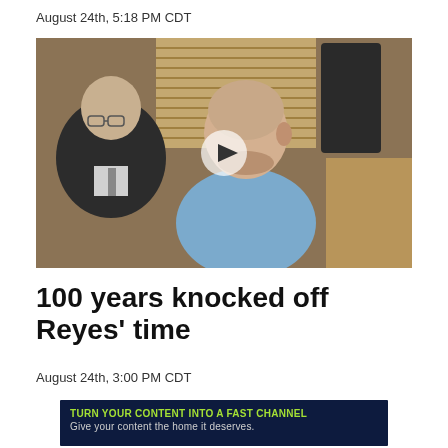August 24th, 5:18 PM CDT
[Figure (photo): Two men seated in what appears to be a courtroom. On the left is an older man in a dark suit with glasses. On the right is a bald man in a light blue shirt. A video play button overlay is visible in the center. Wooden courthouse furniture and blinds are visible in the background.]
100 years knocked off Reyes' time
August 24th, 3:00 PM CDT
[Figure (infographic): Advertisement banner with dark navy background. Green bold text reads: TURN YOUR CONTENT INTO A FAST CHANNEL. White text below reads: Give your content the home it deserves.]